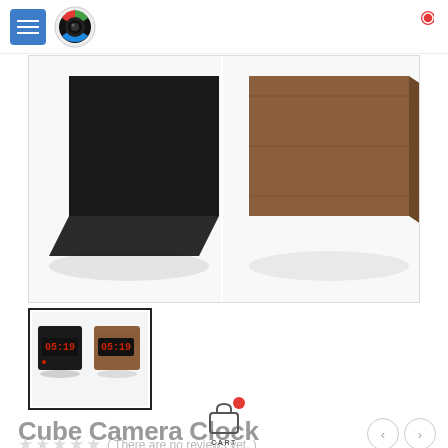[Figure (screenshot): Website header with blue hamburger menu button and circular South African camera logo, plus a red badge cart icon in top right]
[Figure (photo): Main product image area showing partial views of two cube camera clocks — a black one on the left and a wood-grain one on the right, both cropped showing top surfaces at an angle]
[Figure (photo): Thumbnail strip showing two small cube camera clocks side by side: one black and one wood finish, both with red LED displays showing time]
Cube Camera Clock
( There are no reviews yet. )